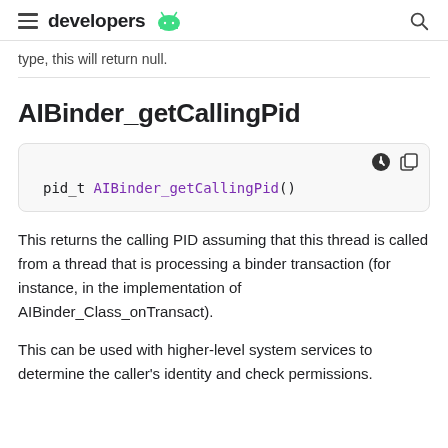developers
type, this will return null.
AIBinder_getCallingPid
pid_t AIBinder_getCallingPid()
This returns the calling PID assuming that this thread is called from a thread that is processing a binder transaction (for instance, in the implementation of AIBinder_Class_onTransact).
This can be used with higher-level system services to determine the caller's identity and check permissions.